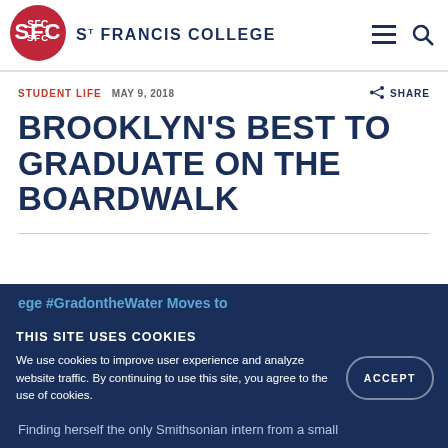[Figure (logo): St. Francis College logo: red circle with SFC initials in white, and college name 'ST FRANCIS COLLEGE' in navy blue text]
STUDENT LIFE   MAY 9, 2018
SHARE
BROOKLYN'S BEST TO GRADUATE ON THE BOARDWALK
THIS SITE USES COOKIES
We use cookies to improve user experience and analyze website traffic. By continuing to use this site, you agree to the use of cookies.
ACCEPT
#GradontheWater Moves to
Finding herself the only Smithsonian intern from a small college, Melanie Kaufman '18 On Every one of...